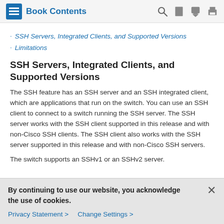Book Contents
SSH Servers, Integrated Clients, and Supported Versions
Limitations
SSH Servers, Integrated Clients, and Supported Versions
The SSH feature has an SSH server and an SSH integrated client, which are applications that run on the switch. You can use an SSH client to connect to a switch running the SSH server. The SSH server works with the SSH client supported in this release and with non-Cisco SSH clients. The SSH client also works with the SSH server supported in this release and with non-Cisco SSH servers.
The switch supports an SSHv1 or an SSHv2 server.
By continuing to use our website, you acknowledge the use of cookies.
Privacy Statement > Change Settings >